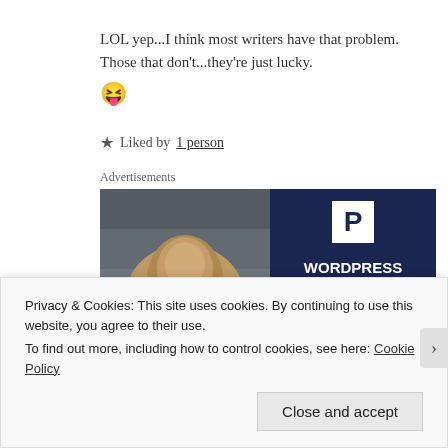LOL yep...I think most writers have that problem. Those that don't...they're just lucky. 😝
★ Liked by 1 person
Advertisements
[Figure (photo): WordPress hosting advertisement banner showing a smiling woman holding an OPEN sign on the left side, and on the right side a dark navy background with a white P logo and text 'WORDPRESS HOSTING THAT MEANS']
Privacy & Cookies: This site uses cookies. By continuing to use this website, you agree to their use.
To find out more, including how to control cookies, see here: Cookie Policy